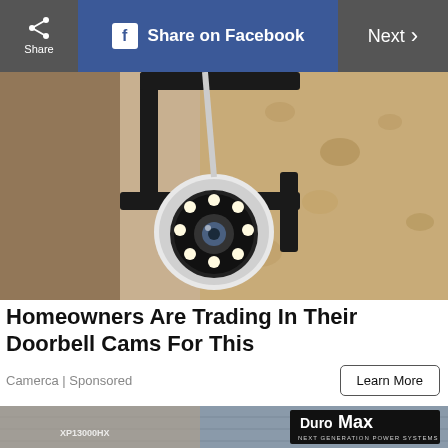Share  |  Share on Facebook  |  Next >
[Figure (photo): Close-up photo of a security camera mounted on a textured exterior wall, with LED lights visible on the lens, mounted on a black bracket]
Homeowners Are Trading In Their Doorbell Cams For This
Camerca | Sponsored
Learn More
[Figure (photo): Man in a beanie hat and khaki jacket working on a DuroMax XP13000HX dual fuel generator outdoors. The DuroMax Next Generation Power Systems logo is visible in the upper right.]